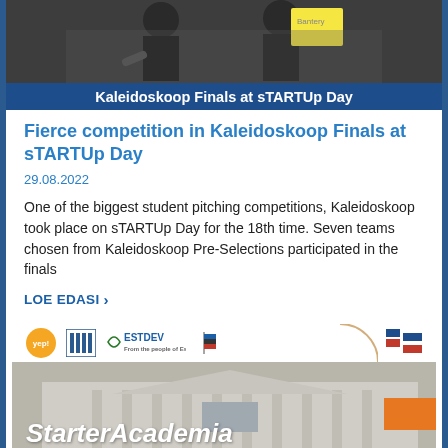[Figure (photo): Photo of people at Kaleidoskoop Finals at sTARTUp Day event, with someone holding a yellow sign]
Kaleidoskoop Finals at sTARTUp Day
Fierce competition in Kaleidoskoop Finals at sTARTUp Day
29.08.2022
One of the biggest student pitching competitions, Kaleidoskoop took place on sTARTUp Day for the 18th time. Seven teams chosen from Kaleidoskoop Pre-Selections participated in the finals
LOE EDASI >
[Figure (photo): Building photo showing StarterAcademia with logos of yep!, an organization, ESTDEV from the people of Estonia, and a flag icon visible. An orange badge is in the corner.]